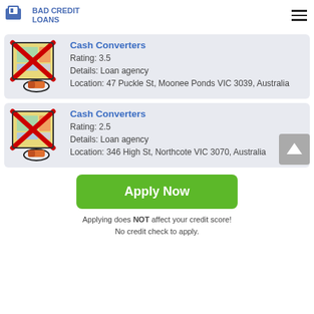BAD CREDIT LOANS
Cash Converters
Rating: 3.5
Details: Loan agency
Location: 47 Puckle St, Moonee Ponds VIC 3039, Australia
Cash Converters
Rating: 2.5
Details: Loan agency
Location: 346 High St, Northcote VIC 3070, Australia
Apply Now
Applying does NOT affect your credit score!
No credit check to apply.